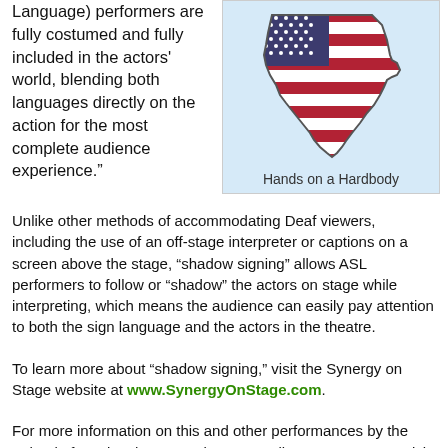Language) performers are fully costumed and fully included in the actors' world, blending both languages directly on the action for the most complete audience experience.”
[Figure (illustration): Texas state shape filled with American flag pattern (red and white stripes, blue field with stars), on light blue background]
Hands on a Hardbody
Unlike other methods of accommodating Deaf viewers, including the use of an off-stage interpreter or captions on a screen above the stage, “shadow signing” allows ASL performers to follow or “shadow” the actors on stage while interpreting, which means the audience can easily pay attention to both the sign language and the actors in the theatre.
To learn more about “shadow signing,” visit the Synergy on Stage website at www.SynergyOnStage.com.
For more information on this and other performances by the School of Music, Theatre and Dance, call 248-370-3030 or visit